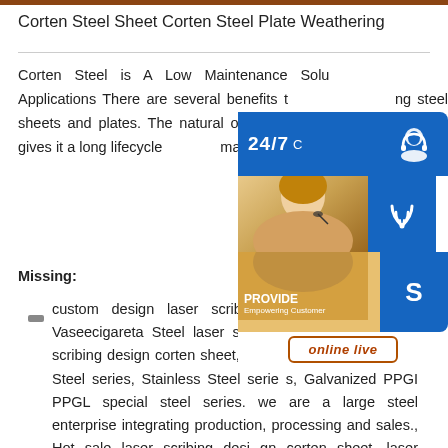Corten Steel Sheet Corten Steel Plate Weathering
Corten Steel is A Low Maintenance Solution for Outdoor Applications There are several benefits to using steel sheets and plates. The natural oxidation of Corten steel gives it a long lifecycle with low maintenance sp.info
Missing:
custom design laser scribing design Vaseecigareta Steel laser scribing sheet. laser scribing design corten sheet, Our Main products:Carbon Steel series, Stainless Steel series, Galvanized PPGI PPGL special steel series. we are a large steel enterprise integrating production, processing and sales., Hot sale laser scribing design corten sheet, laser scribing design corten sheet
[Figure (photo): Customer service widget overlay showing 24/7 support label, a female customer service representative with headset, three blue icon buttons (headset/call/Skype), and an orange 'online live' button]